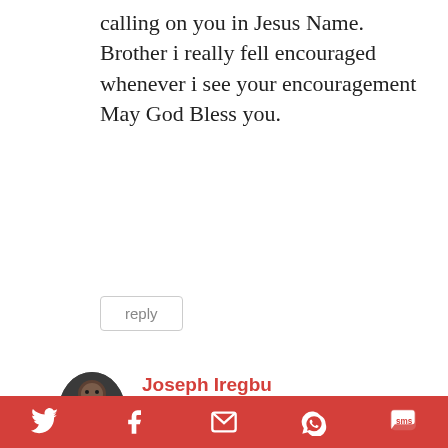calling on you in Jesus Name. Brother i really fell encouraged whenever i see your encouragement May God Bless you.
reply
[Figure (photo): Avatar photo of Joseph Iregbu, a person in a dark shirt]
Joseph Iregbu
December 17, 2012 at 9:49 pm
Salome, thanks for your encouraging words. Remain blessed in Jesus name.
Social share bar with Twitter, Facebook, Email, WhatsApp, SMS icons